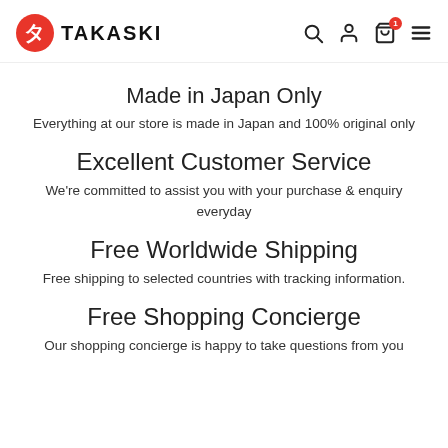TAKASKI
Made in Japan Only
Everything at our store is made in Japan and 100% original only
Excellent Customer Service
We're committed to assist you with your purchase & enquiry everyday
Free Worldwide Shipping
Free shipping to selected countries with tracking information.
Free Shopping Concierge
Our shopping concierge is happy to take questions from you